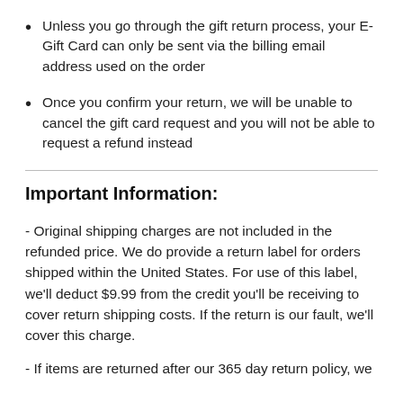Unless you go through the gift return process, your E-Gift Card can only be sent via the billing email address used on the order
Once you confirm your return, we will be unable to cancel the gift card request and you will not be able to request a refund instead
Important Information:
- Original shipping charges are not included in the refunded price. We do provide a return label for orders shipped within the United States. For use of this label, we'll deduct $9.99 from the credit you'll be receiving to cover return shipping costs. If the return is our fault, we'll cover this charge.
- If items are returned after our 365 day return policy, we